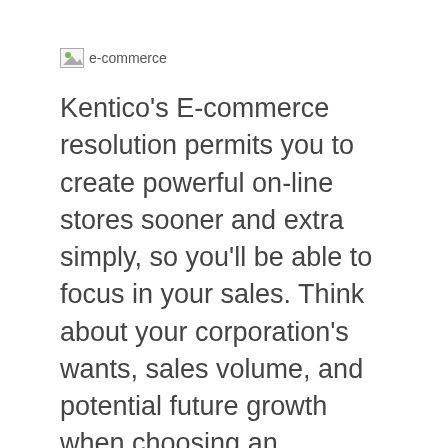[Figure (illustration): Broken image placeholder with alt text 'e-commerce']
Kentico's E-commerce resolution permits you to create powerful on-line stores sooner and extra simply, so you'll be able to focus in your sales. Think about your corporation's wants, sales volume, and potential future growth when choosing an ecommerce platform. A latest approach to draw more prospects entails partnering between